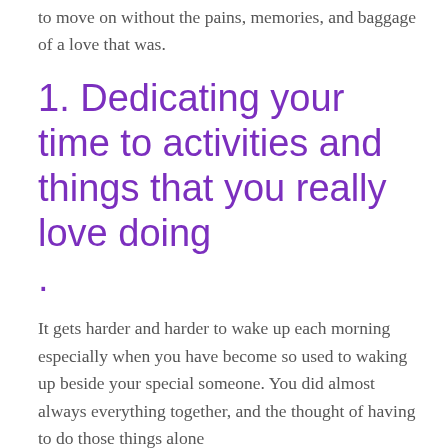to move on without the pains, memories, and baggage of a love that was.
1. Dedicating your time to activities and things that you really love doing.
It gets harder and harder to wake up each morning especially when you have become so used to waking up beside your special someone. You did almost always everything together, and the thought of having to do those things alone